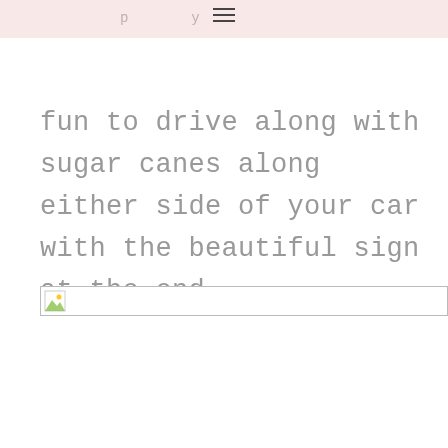fun to drive along with sugar canes along either side of your car with the beautiful sign at the end.
[Figure (photo): Broken/missing image placeholder with small image icon in top-left corner and a thin border]